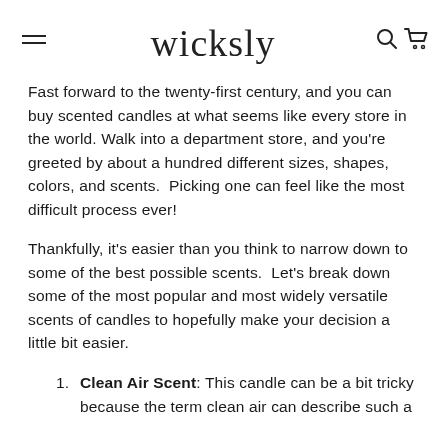wicksly
Fast forward to the twenty-first century, and you can buy scented candles at what seems like every store in the world. Walk into a department store, and you're greeted by about a hundred different sizes, shapes, colors, and scents.  Picking one can feel like the most difficult process ever!
Thankfully, it's easier than you think to narrow down to some of the best possible scents.  Let's break down some of the most popular and most widely versatile scents of candles to hopefully make your decision a little bit easier.
Clean Air Scent: This candle can be a bit tricky because the term clean air can describe such a